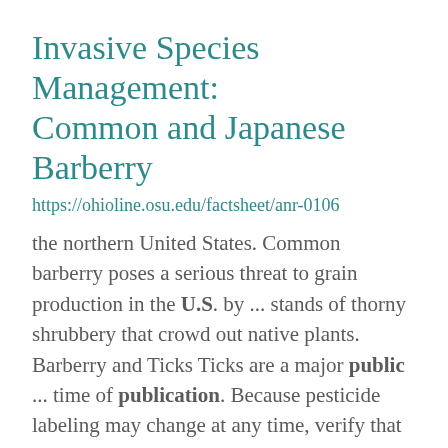Invasive Species Management: Common and Japanese Barberry
https://ohioline.osu.edu/factsheet/anr-0106
the northern United States. Common barberry poses a serious threat to grain production in the U.S. by ... stands of thorny shrubbery that crowd out native plants. Barberry and Ticks Ticks are a major public ... time of publication. Because pesticide labeling may change at any time, verify that a particular ...
CFAES Diversity, Equity, and Inclusion Search Series...